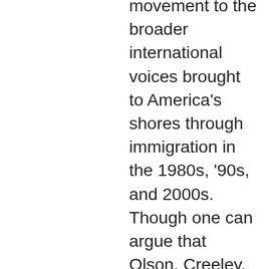movement to the broader international voices brought to America's shores through immigration in the 1980s, '90s, and 2000s. Though one can argue that Olson, Creeley, and Duncan's work spins out into socio-political directions which lay a strong foundation for diversity of perspective and expression, it is true that all of these writers are dead white men. This fact is notable when one sees what new poets NAAL includes in the latest edition who had never graced its pages before: one, Frank Bidart, is a white (homosexual) man, and two, Natasha Tretheway and Tracy Smith, are African-American